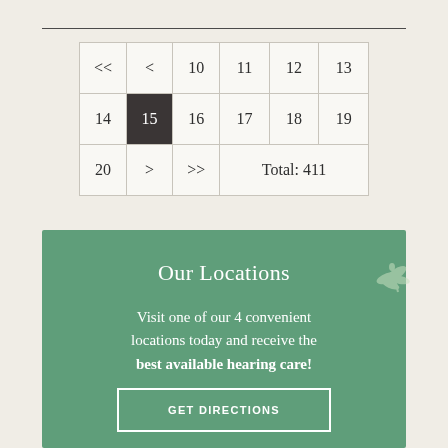| << | < | 10 | 11 | 12 | 13 |
| 14 | 15 | 16 | 17 | 18 | 19 |
| 20 | > | >> | Total: 411 |
Our Locations
Visit one of our 4 convenient locations today and receive the best available hearing care!
GET DIRECTIONS